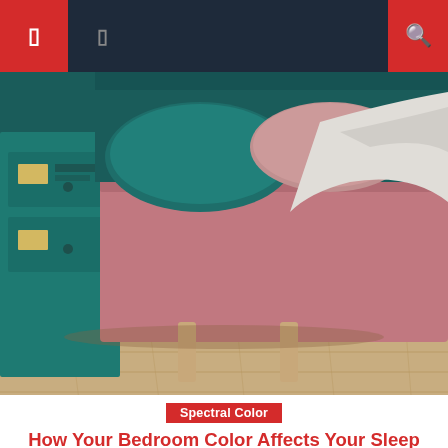Navigation bar with menu icons
[Figure (photo): Bedroom photo showing a pink upholstered bed with teal/dark green headboard and pillows, wooden floor, teal bedside table with lamp. Close-up of foot of bed and floor area.]
Spectral Color
How Your Bedroom Color Affects Your Sleep (According To Experts)
When choosing the color scheme for your home, you probably go for your favorite colors when it comes to the kitchen and the living room. Your bedroom colors, however, serve another purpose. The decoration, the color of the walls and the bedding are designed to relax you and predispose you to a deep and restorative [...]